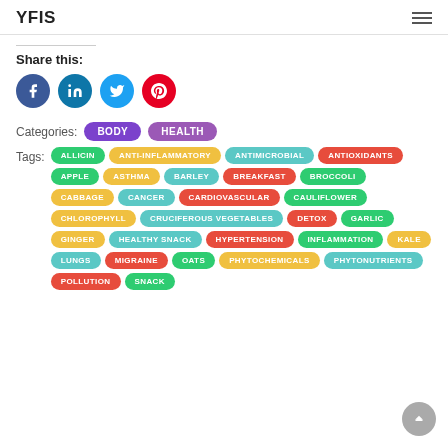YFIS
Share this:
[Figure (infographic): Social sharing icons: Facebook (dark blue circle), LinkedIn (blue circle), Twitter (light blue circle), Pinterest (red circle)]
Categories: BODY HEALTH
Tags: ALLICIN, ANTI-INFLAMMATORY, ANTIMICROBIAL, ANTIOXIDANTS, APPLE, ASTHMA, BARLEY, BREAKFAST, BROCCOLI, CABBAGE, CANCER, CARDIOVASCULAR, CAULIFLOWER, CHLOROPHYLL, CRUCIFEROUS VEGETABLES, DETOX, GARLIC, GINGER, HEALTHY SNACK, HYPERTENSION, INFLAMMATION, KALE, LUNGS, MIGRAINE, OATS, PHYTOCHEMICALS, PHYTONUTRIENTS, POLLUTION, SNACK